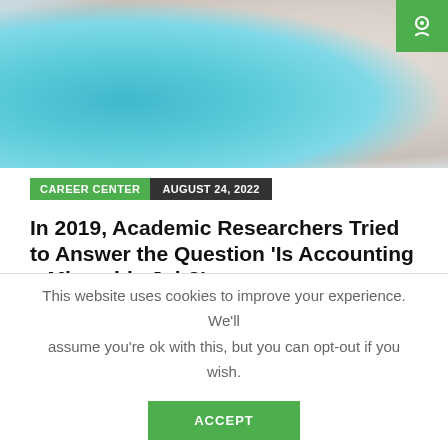[Figure (photo): Partial view of a teal/turquoise cup and textured white fabric/object on a light background, with a green logo badge in the top-right corner]
CAREER CENTER  AUGUST 24, 2022
In 2019, Academic Researchers Tried to Answer the Question 'Is Accounting a Miserable Job?'
by ADRIENNE GONZALEZ
Latest Jobs
This website uses cookies to improve your experience. We'll assume you're ok with this, but you can opt-out if you wish.